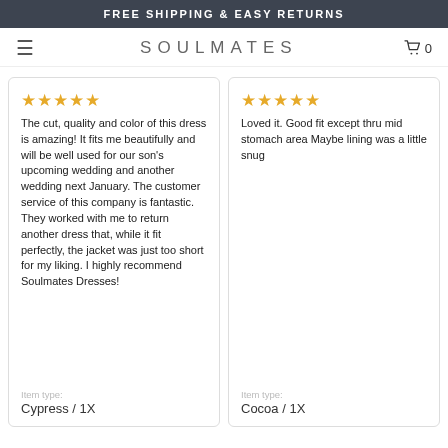FREE SHIPPING & EASY RETURNS
SOULMATES   0
The cut, quality and color of this dress is amazing! It fits me beautifully and will be well used for our son's upcoming wedding and another wedding next January. The customer service of this company is fantastic. They worked with me to return another dress that, while it fit perfectly, the jacket was just too short for my liking. I highly recommend Soulmates Dresses!
Item type:
Cypress / 1X
Loved it. Good fit except thru mid stomach area Maybe lining was a little snug
Item type:
Cocoa / 1X